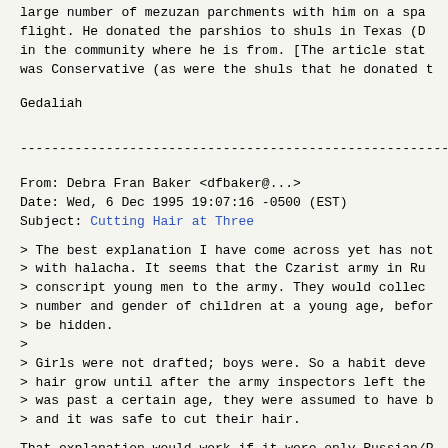large number of mezuzan parchments with him on a spa flight.  He donated the parshios to shuls in Texas (D in the community where he is from.  [The article stat was Conservative (as were the shuls that he donated t
Gedaliah
------------------------------------------------------------------------
From: Debra Fran Baker <dfbaker@...>
Date: Wed, 6 Dec 1995 19:07:16 -0500 (EST)
Subject: Cutting Hair at Three
> The best explanation I have come across yet has not
> with halacha.  It seems that the Czarist army in Ru
> conscript young men to the army.  They would collec
> number and gender of children at a young age, befor
> be hidden.
>
> Girls were not drafted; boys were.  So a habit deve
> hair grow until after the army inspectors left the
> was past a certain age, they were assumed to have b
> and it was safe to cut their hair.
That explanation would work if it were only Russian/P Ashkenazi Jews who have the tradition of not cutting is past three.
However, I have a Yemenite friend who says that it i